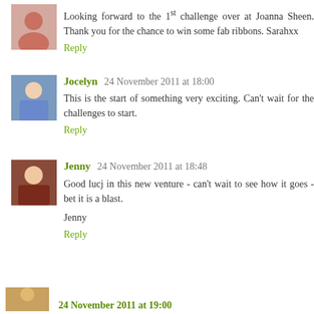Looking forward to the 1st challenge over at Joanna Sheen. Thank you for the chance to win some fab ribbons. Sarahxx
Reply
Jocelyn  24 November 2011 at 18:00
This is the start of something very exciting. Can't wait for the challenges to start.
Reply
Jenny  24 November 2011 at 18:48
Good lucj in this new venture - can't wait to see how it goes - bet it is a blast.

Jenny
Reply